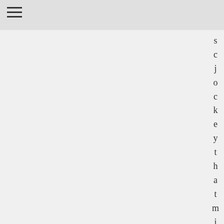s c j o c k e y t h a t m i g h t i